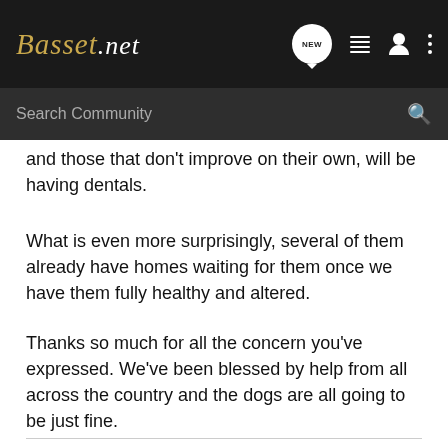Basset.net
and those that don't improve on their own, will be having dentals.
What is even more surprisingly, several of them already have homes waiting for them once we have them fully healthy and altered.
Thanks so much for all the concern you've expressed. We've been blessed by help from all across the country and the dogs are all going to be just fine.
Owned by Reggie, Bear, Honey, Henry, Kelly, and Phil the C@t (basset, basset, basset, basset, Walker Hound, Russian Blue)